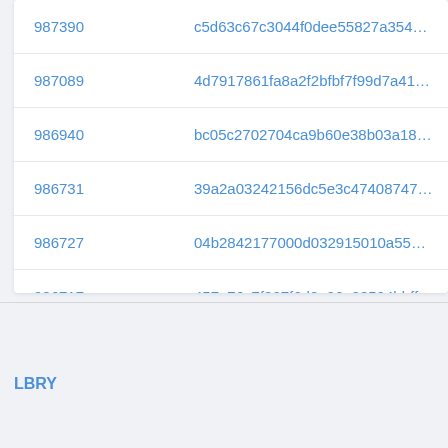| ID | Hash |  |
| --- | --- | --- |
| 987390 | c5d63c67c3044f0dee55827a354ded... | 3 |
| 987089 | 4d7917861fa8a2f2bfbf7f99d7a41f9d... | 3 |
| 986940 | bc05c2702704ca9b60e38b03a186a... | 2 |
| 986731 | 39a2a03242156dc5e3c47408747c2... | 2 |
| 986727 | 04b2842177000d032915010a55e92... | 2 |
| 986717 | 457e76c7f807f6d0a96a98594bbffc2... | 2 |
LBRY